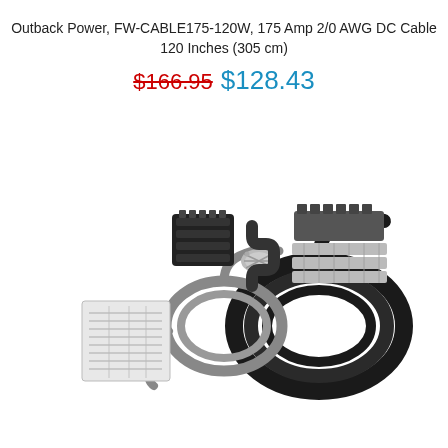Outback Power, FW-CABLE175-120W, 175 Amp 2/0 AWG DC Cable 120 Inches (305 cm)
$166.95 $128.43
[Figure (photo): Product photo showing Outback Power FW-CABLE175-120W DC cable kit components including terminal blocks, connectors, hardware screws, a label sheet, gray cable loops, and two large black cable coils arranged on a white background.]